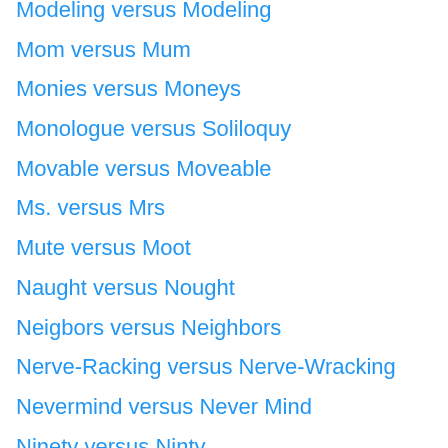Modeling versus Modeling
Mom versus Mum
Monies versus Moneys
Monologue versus Soliloquy
Movable versus Moveable
Ms. versus Mrs
Mute versus Moot
Naught versus Nought
Neigbors versus Neighbors
Nerve-Racking versus Nerve-Wracking
Nevermind versus Never Mind
Ninety versus Ninty
No Later Than versus No Later Then
Not Surprisingly versus Not Surprising
Obliged versus Obligated